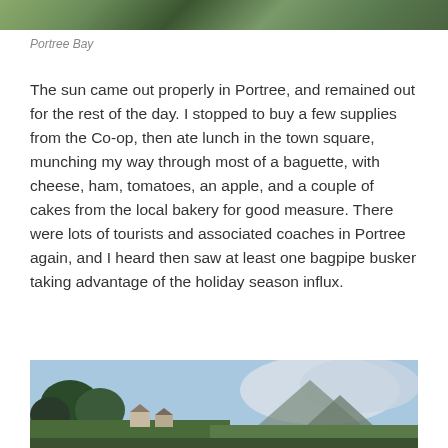[Figure (photo): Partial view of a photo at the top of the page showing green landscape, likely Portree Bay area]
Portree Bay
The sun came out properly in Portree, and remained out for the rest of the day. I stopped to buy a few supplies from the Co-op, then ate lunch in the town square, munching my way through most of a baguette, with cheese, ham, tomatoes, an apple, and a couple of cakes from the local bakery for good measure. There were lots of tourists and associated coaches in Portree again, and I heard then saw at least one bagpipe busker taking advantage of the holiday season influx.
[Figure (photo): Landscape photo showing trees in foreground, buildings, and a misty/cloudy mountain in the background under a blue sky]